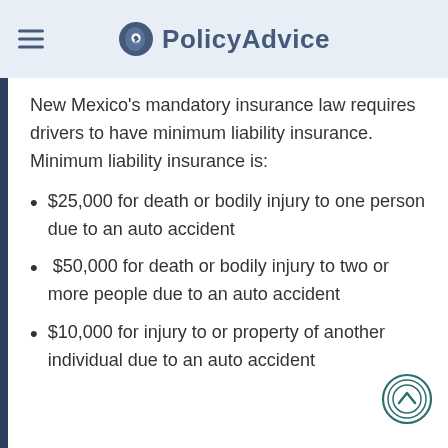PolicyAdvice
New Mexico's mandatory insurance law requires drivers to have minimum liability insurance. Minimum liability insurance is:
$25,000 for death or bodily injury to one person due to an auto accident
$50,000 for death or bodily injury to two or more people due to an auto accident
$10,000 for injury to or property of another individual due to an auto accident